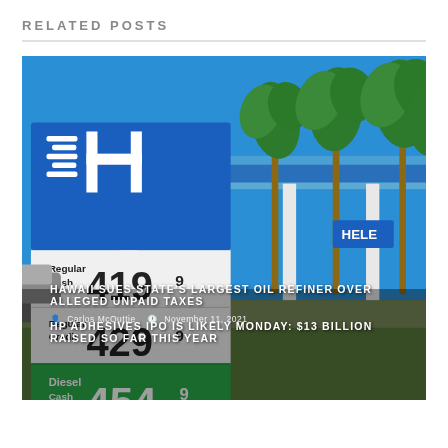RELATED POSTS
[Figure (photo): Photo of a Hele gas station price sign in Hawaii showing Regular Cash 419.9, Regular Credit 429.9, Diesel Cash 454.9, with a blue canopy and palm trees in the background]
HAWAII SUES STATE'S LARGEST OIL REFINER OVER ALLEGED UNPAID TAXES
Carlos McOuttie  November 11, 2021
HP ADHESIVES IPO IS LIKELY MONDAY: $13 BILLION RAISED SO FAR THIS YEAR